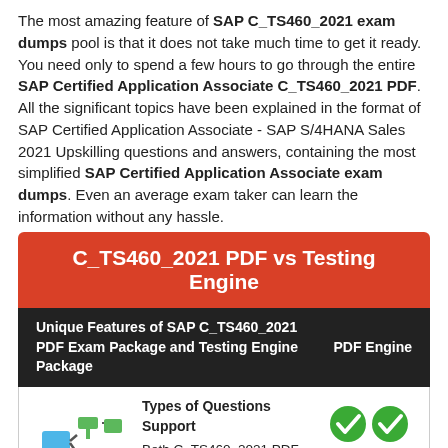The most amazing feature of SAP C_TS460_2021 exam dumps pool is that it does not take much time to get it ready. You need only to spend a few hours to go through the entire SAP Certified Application Associate C_TS460_2021 PDF. All the significant topics have been explained in the format of SAP Certified Application Associate - SAP S/4HANA Sales 2021 Upskilling questions and answers, containing the most simplified SAP Certified Application Associate exam dumps. Even an average exam taker can learn the information without any hassle.
| Unique Features of SAP C_TS460_2021 PDF Exam Package and Testing Engine Package | PDF Engine |
| --- | --- |
| Types of Questions Support
Both C_TS460_2021 PDF and Testing Engine have all the Real Questions including Multiple Choice, Simulation and Drag Drop Questions. | ✔✔ |